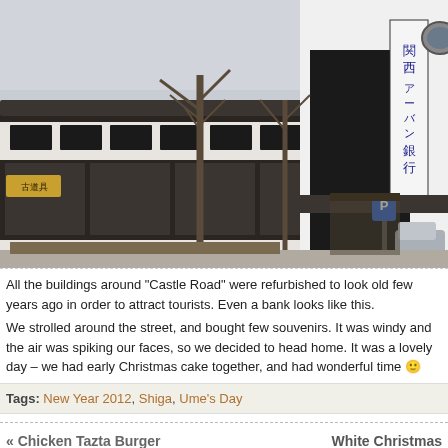[Figure (photo): Photograph of Japanese street buildings along 'Castle Road' in Shiga, Japan. Traditional-style architecture with dark trim, tiled roofs, and Japanese signage including a bank sign. Bare winter trees in foreground, parked cars visible on right, overcast sky.]
All the buildings around “Castle Road” were refurbished to look old few years ago in order to attract tourists.  Even a bank looks like this.
We strolled around the street, and bought few souvenirs.  It was windy and the air was spiking our faces, so we decided to head home.  It was a lovely day – we had early Christmas cake together, and had wonderful time 🙂
Tags: New Year 2012, Shiga, Ume’s Day
« Chicken Tazta Burger  White Christmas